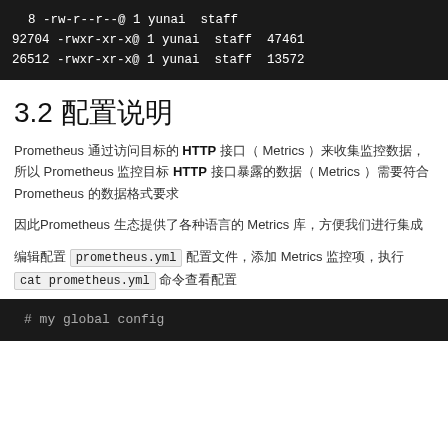[Figure (screenshot): Terminal output showing file listing with permissions, owner yunai, group staff, and file sizes 8, 92704, 26512]
3.2 配置说明
Prometheus 通过访问目标的 HTTP 接口（ Metrics ）来收集监控数据，所以 Prometheus 监控目标 HTTP 接口暴露的数据（ Metrics ）需要符合 Prometheus 的数据格式要求
因此Prometheus 生态提供了各种语言的 Metrics 库，方便我们进行集成
编辑配置 prometheus.yml 配置文件，添加 Metrics 监控项，执行 cat prometheus.yml 命令查看配置
[Figure (screenshot): Terminal showing beginning of prometheus.yml config file with comment: # my global config]